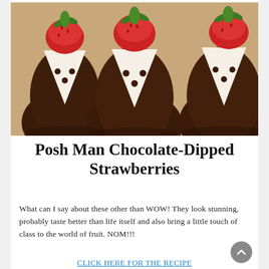[Figure (photo): Chocolate-dipped strawberries decorated to look like tuxedos, with white chocolate triangles and small chocolate dot buttons on dark chocolate coating, viewed from front with strawberry tops visible]
Posh Man Chocolate-Dipped Strawberries
What can I say about these other than WOW! They look stunning, probably taste better than life itself and also bring a little touch of class to the world of fruit. NOM!!!
CLICK HERE FOR THE RECIPE
| Making Guide | Ingredients List |
| --- | --- |
| No | No |